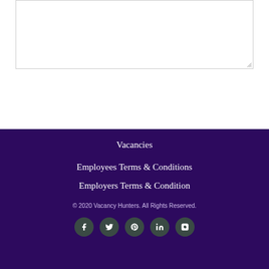[Figure (screenshot): A textarea input box with a resize handle in the bottom-right corner]
POST COMMENT
Vacancies
Employees Terms & Conditions
Employers Terms & Condition
© 2020 Vacancy Hunters. All Rights Reserved.
[Figure (illustration): Row of social media icons: Facebook, Twitter, Pinterest, LinkedIn, Instagram on dark teal circular backgrounds]